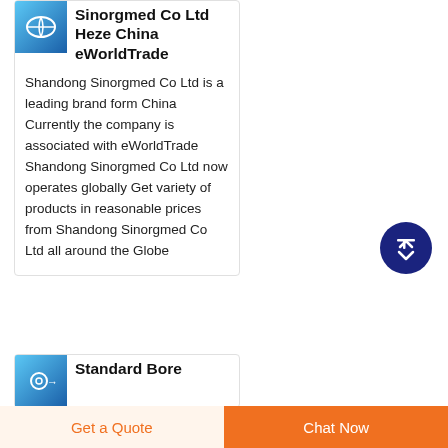Sinorgmed Co Ltd Heze China eWorldTrade
Shandong Sinorgmed Co Ltd is a leading brand form China Currently the company is associated with eWorldTrade Shandong Sinorgmed Co Ltd now operates globally Get variety of products in reasonable prices from Shandong Sinorgmed Co Ltd all around the Globe
[Figure (illustration): Scroll-to-top button: dark navy blue circle with white upward arrow]
Standard Bore
Get a Quote
Chat Now